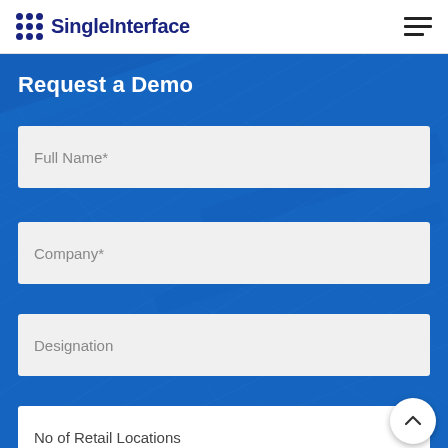SingleInterface
Request a Demo
Full Name*
Company*
Designation
No of Retail Locations